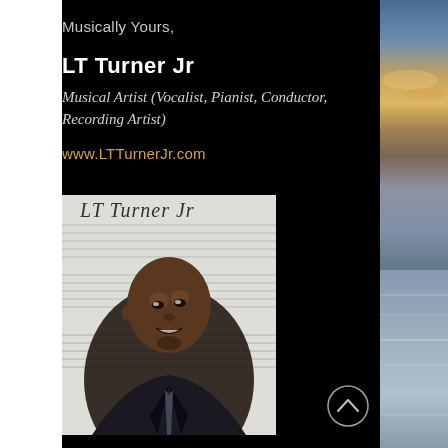Musically Yours,
LT Turner Jr
Musical Artist (Vocalist, Pianist, Conductor, Recording Artist)
www.LTTurnerJr.com
[Figure (photo): Portrait photo of LT Turner Jr, a man wearing a dark suit and striped tie, smiling, overlaid with musical sheet notation and a cursive signature reading 'LT Turner Jr']